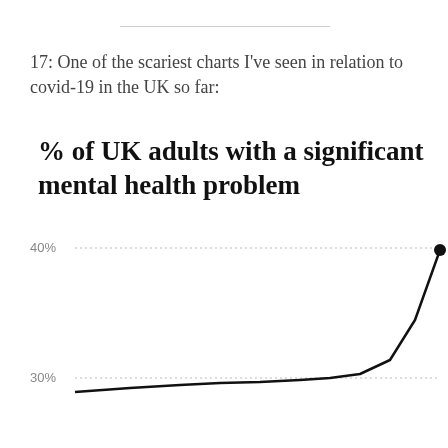17: One of the scariest charts I've seen in relation to covid-19 in the UK so far:
[Figure (line-chart): Line chart showing percentage of UK adults with a significant mental health problem. Y-axis shows 30% and 40% gridlines visible. The line rises steeply at the right end, with a dot at approximately 38% near the right edge of the chart.]